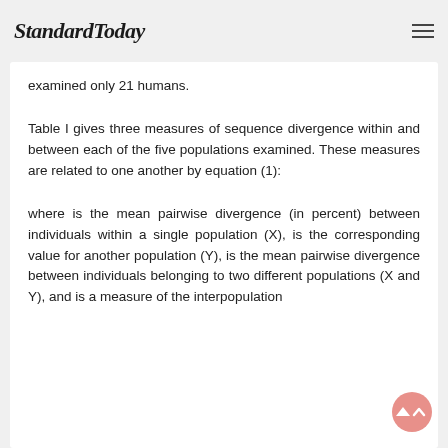StandardToday
examined only 21 humans.
Table I gives three measures of sequence divergence within and between each of the five populations examined. These measures are related to one another by equation (1):
where is the mean pairwise divergence (in percent) between individuals within a single population (X), is the corresponding value for another population (Y), is the mean pairwise divergence between individuals belonging to two different populations (X and Y), and is a measure of the interpopulation